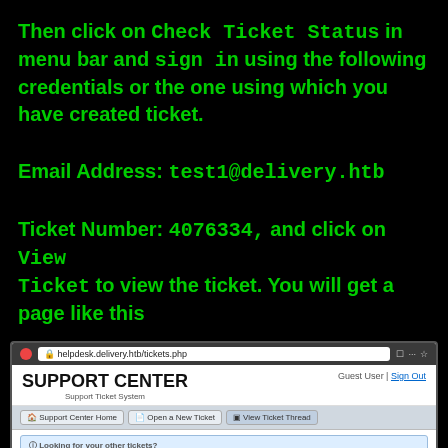Then click on Check Ticket Status in menu bar and sign in using the following credentials or the one using which you have created ticket.
Email Address: test1@delivery.htb
Ticket Number: 4076334, and click on View Ticket to view the ticket. You will get a page like this
[Figure (screenshot): Screenshot of helpdesk.delivery.htb/tickets.php showing SUPPORT CENTER Support Ticket System with a ticket for Issue1 #4076334, Basic Ticket Information (Status: Open, Department: Support, Create Date: 1/13/21 11:15 AM) and User Information (Name: Test1, Email: test1@delivery.htb, Phone: (123) 456-7890), with a post by test1 on 1/13/21 11:15 AM]